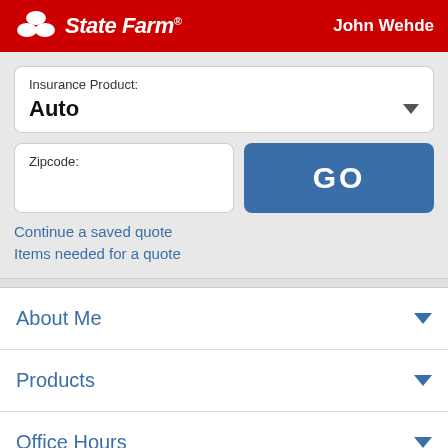[Figure (logo): State Farm logo with three ovals icon and italic bold white text 'StateFarm' with registered trademark symbol]
John Wehde
Insurance Product:
Auto
Zipcode:
GO
Continue a saved quote
Items needed for a quote
About Me
Products
Office Hours
Location & Phone